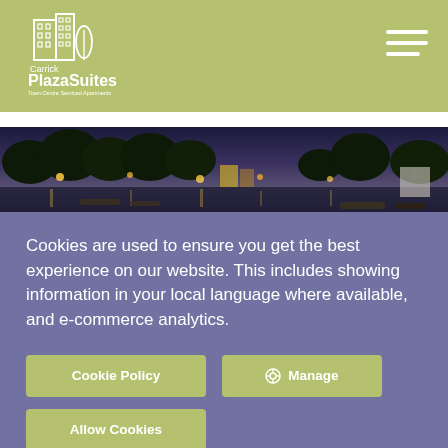Carrick PlazaSuites
[Figure (photo): Panoramic night photograph of Carrick waterfront with boats, reflections on the water, trees and buildings lit up at dusk]
Cookies are used to ensure you get the best experience on our website. This includes showing information in your local language where available, and e-commerce analytics.
Cookie Policy
⚙ Manage
Allow Cookies